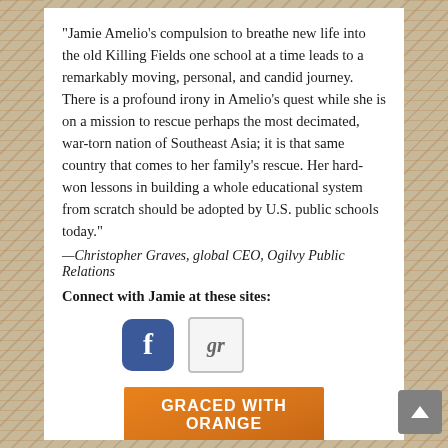“Jamie Amelio’s compulsion to breathe new life into the old Killing Fields one school at a time leads to a remarkably moving, personal, and candid journey. There is a profound irony in Amelio’s quest while she is on a mission to rescue perhaps the most decimated, war-torn nation of Southeast Asia; it is that same country that comes to her family’s rescue. Her hard-won lessons in building a whole educational system from scratch should be adopted by U.S. public schools today.”
—Christopher Graves, global CEO, Ogilvy Public Relations
Connect with Jamie at these sites:
[Figure (logo): Facebook logo icon (blue rounded square with white F) and Goodreads icon (grey square with 'gr' text)]
[Figure (photo): Book cover for 'Graced with Orange' - orange background with white bold title text and a silhouette figure]